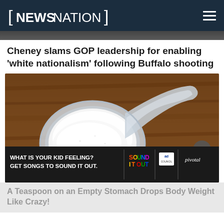NEWSNATION
Cheney slams GOP leadership for enabling 'white nationalism' following Buffalo shooting
[Figure (photo): A plastic measuring scoop filled with white powder (likely protein powder or supplement) on a wooden surface, with some powder spilled beside it. An advertisement banner overlay reads 'WHAT IS YOUR KID FEELING? GET SONGS TO SOUND IT OUT.' with Sound It Out and Ad Council logos.]
A Teaspoon on an Empty Stomach Drops Body Weight Like Crazy!